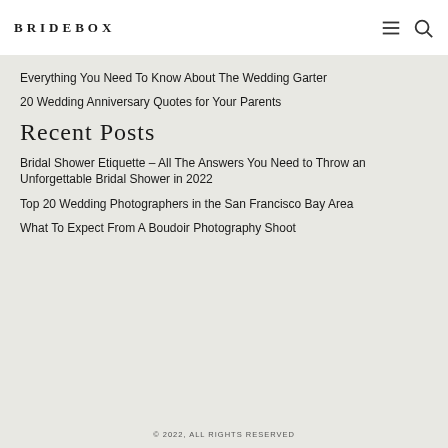BRIDEBOX
Everything You Need To Know About The Wedding Garter
20 Wedding Anniversary Quotes for Your Parents
Recent Posts
Bridal Shower Etiquette – All The Answers You Need to Throw an Unforgettable Bridal Shower in 2022
Top 20 Wedding Photographers in the San Francisco Bay Area
What To Expect From A Boudoir Photography Shoot
© 2022, ALL RIGHTS RESERVED